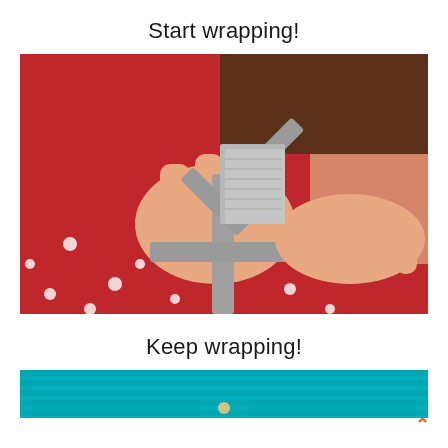Start wrapping!
[Figure (photo): Child's hands holding gray ribbon strips, forming a bow shape, against a red polka-dot fabric background.]
Keep wrapping!
[Figure (photo): Partial view of teal/turquoise knitted fabric with a small figure at the bottom edge.]